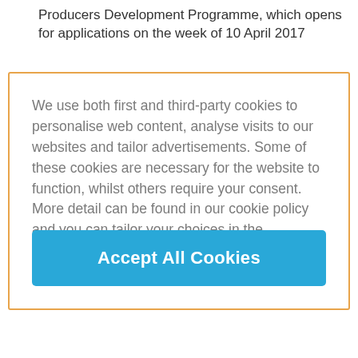Producers Development Programme, which opens for applications on the week of 10 April 2017
We use both first and third-party cookies to personalise web content, analyse visits to our websites and tailor advertisements. Some of these cookies are necessary for the website to function, whilst others require your consent. More detail can be found in our cookie policy and you can tailor your choices in the preference centre.
Accept All Cookies